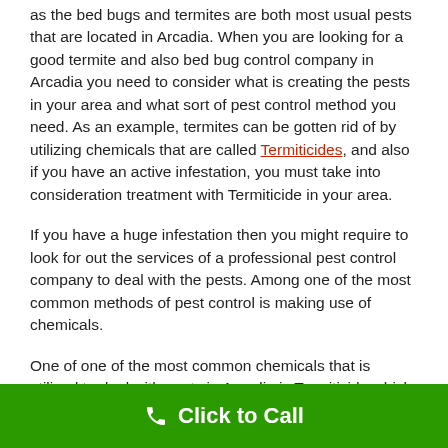as the bed bugs and termites are both most usual pests that are located in Arcadia. When you are looking for a good termite and also bed bug control company in Arcadia you need to consider what is creating the pests in your area and what sort of pest control method you need. As an example, termites can be gotten rid of by utilizing chemicals that are called Termiticides, and also if you have an active infestation, you must take into consideration treatment with Termiticide in your area.
If you have a huge infestation then you might require to look for out the services of a professional pest control company to deal with the pests. Among one of the most common methods of pest control is making use of chemicals.
One of one of the most common chemicals that is utilized to deal with pests in Arcadia is Termiticide which is a chemical that is developed to kill the bed bugs and also termites. You
Click to Call